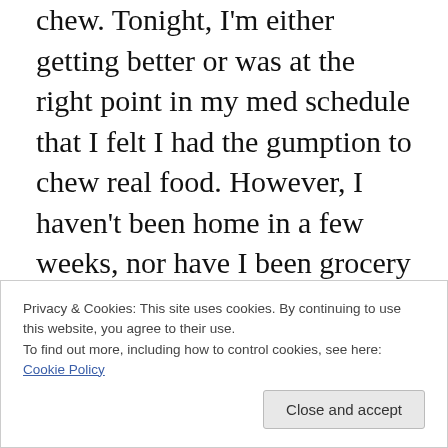chew. Tonight, I'm either getting better or was at the right point in my med schedule that I felt I had the gumption to chew real food. However, I haven't been home in a few weeks, nor have I been grocery shopping. That left me to the devices of the cupboards I'd been trying to run out before I left. I made Buffalo Chicken Quinoa. Sounds weird right? It's amazing. It's the second best quinoa I've ever eaten in my life, right after my lemon, sun-dried tomato, asparagus, edamame quinoa that I make. The biggest annoyance in making quinoa is titling the dish, that's why I
Privacy & Cookies: This site uses cookies. By continuing to use this website, you agree to their use.
To find out more, including how to control cookies, see here: Cookie Policy